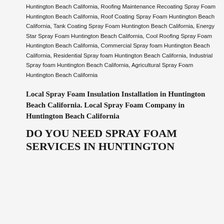Huntington Beach California, Roofing Maintenance Recoating Spray Foam Huntington Beach California, Roof Coating Spray Foam Huntington Beach California, Tank Coating Spray Foam Huntington Beach California, Energy Star Spray Foam Huntington Beach California, Cool Roofing Spray Foam Huntington Beach California, Commercial Spray foam Huntington Beach California, Residential Spray foam Huntington Beach California, Industrial Spray foam Huntington Beach California, Agricultural Spray Foam Huntington Beach California
Local Spray Foam Insulation Installation in Huntington Beach California. Local Spray Foam Company in Huntington Beach California
DO YOU NEED SPRAY FOAM SERVICES IN HUNTINGTON